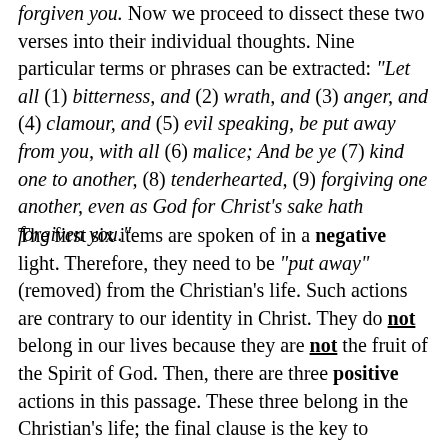forgiven you. Now we proceed to dissect these two verses into their individual thoughts. Nine particular terms or phrases can be extracted: "Let all (1) bitterness, and (2) wrath, and (3) anger, and (4) clamour, and (5) evil speaking, be put away from you, with all (6) malice; And be ye (7) kind one to another, (8) tenderhearted, (9) forgiving one another, even as God for Christ's sake hath forgiven you."
The first six items are spoken of in a negative light. Therefore, they need to be "put away" (removed) from the Christian's life. Such actions are contrary to our identity in Christ. They do not belong in our lives because they are not the fruit of the Spirit of God. Then, there are three positive actions in this passage. These three belong in the Christian's life; the final clause is the key to experiencing them in your Christian life. Now, we proceed to define all nine items. Having a working knowledge of them will help understand our next Ephesians 4:32 and